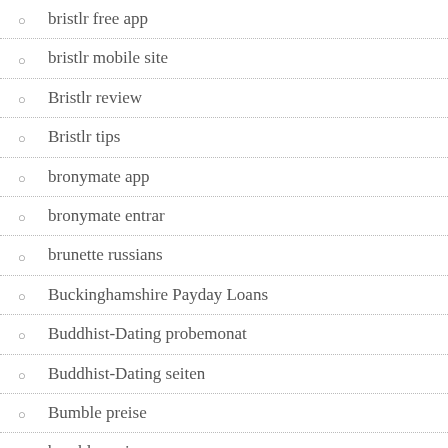bristlr free app
bristlr mobile site
Bristlr review
Bristlr tips
bronymate app
bronymate entrar
brunette russians
Buckinghamshire Payday Loans
Buddhist-Dating probemonat
Buddhist-Dating seiten
Bumble preise
bumble review